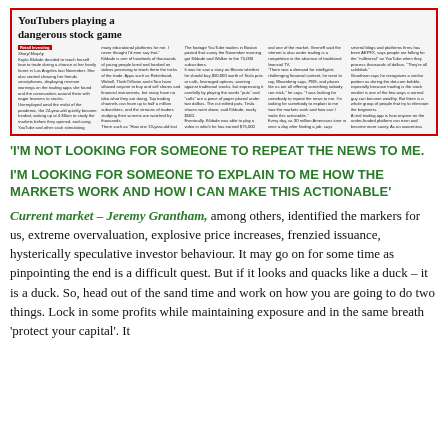[Figure (screenshot): Newspaper article screenshot with red border. Headline: 'YouTubers playing a dangerous stock game'. Multi-column newspaper text with tags 'Retail Investing' and author 'Sharyl Murphy'.]
'I'M NOT LOOKING FOR SOMEONE TO REPEAT THE NEWS TO ME. I'M LOOKING FOR SOMEONE TO EXPLAIN TO ME HOW THE MARKETS WORK AND HOW I CAN MAKE THIS ACTIONABLE'
Current market – Jeremy Grantham, among others, identified the markers for us, extreme overvaluation, explosive price increases, frenzied issuance, hysterically speculative investor behaviour. It may go on for some time as pinpointing the end is a difficult quest. But if it looks and quacks like a duck – it is a duck. So, head out of the sand time and work on how you are going to do two things. Lock in some profits while maintaining exposure and in the same breath 'protect your capital'. It